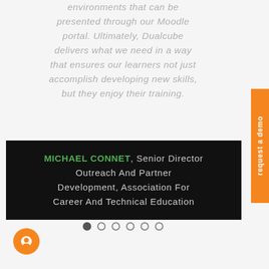environments that can be presented through our Moodle portal. Ultimately, Dualcube delivers what we need in a way that ensures our learners not just accomplish developing new skills, but they enjoy their training.
MICHAEL CONNET, Senior Director Outreach And Partner Development, Association For Career And Technical Education
[Figure (other): Carousel navigation dots: 6 dots, first one filled/active, rest empty circles]
[Figure (other): Orange circular chat button at bottom left]
request a demo